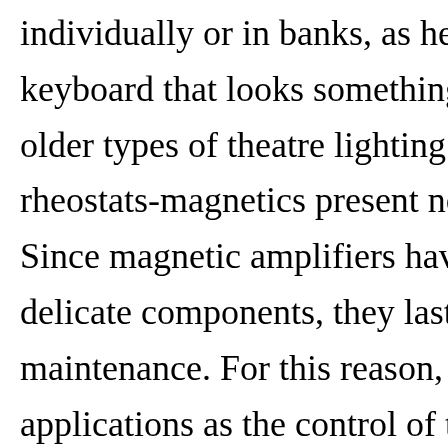individually or in banks, as he desires, keyboard that looks something like an older types of theatre lighting devices rheostats-magnetics present no fire ha. Since magnetic amplifiers have no mo delicate components, they last for yea maintenance. For this reason, they are applications as the control of the atom